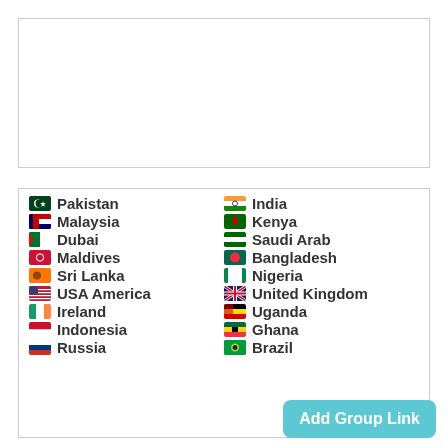[Figure (other): Empty white box with border, likely an advertisement or image placeholder]
Pakistan | India | Malaysia | Kenya | Dubai | Saudi Arab | Maldives | Bangladesh | Sri Lanka | Nigeria | USA America | United Kingdom | Ireland | Uganda | Indonesia | Ghana | Russia | Brazil
Add Group Link